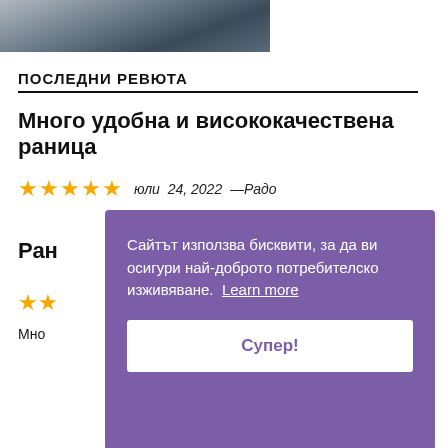[Figure (photo): Top portion of a photo showing what appears to be a dark object with rain or water droplets in the background, cropped at top of page]
ПОСЛЕДНИ РЕВЮТА
Много удобна и висококачествена раница
юли  24, 2022  —Радо
Ран
Мно
[Figure (screenshot): Cookie consent overlay popup with purple background containing text 'Сайтът използва бисквити, за да ви осигури най-доброто потребителско изживяване. Learn more' and a white button labeled 'Супер!']